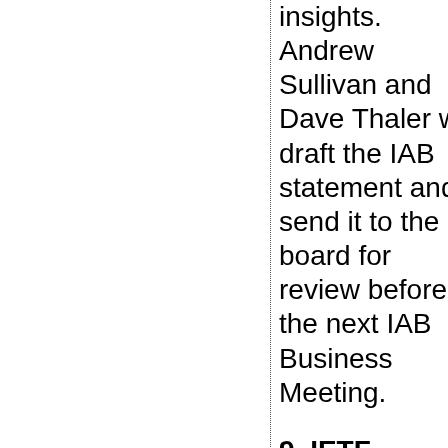insights. Andrew Sullivan and Dave Thaler will draft the IAB statement and send it to the board for review before the next IAB Business Meeting.
9. IETF Delegate to the ICANN 2014 Nominating Committee